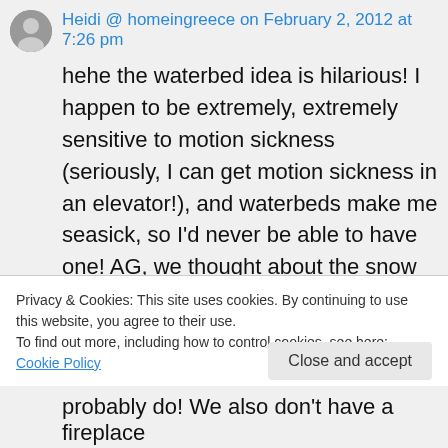Heidi @ homeingreece on February 2, 2012 at 7:26 pm
hehe the waterbed idea is hilarious! I happen to be extremely, extremely sensitive to motion sickness (seriously, I can get motion sickness in an elevator!), and waterbeds make me seasick, so I'd never be able to have one! AG, we thought about the snow but apparently it takes an enormous amount of snow to produce a little water. The crystalline structure spaces
Privacy & Cookies: This site uses cookies. By continuing to use this website, you agree to their use.
To find out more, including how to control cookies, see here: Cookie Policy
Close and accept
probably do! We also don't have a fireplace